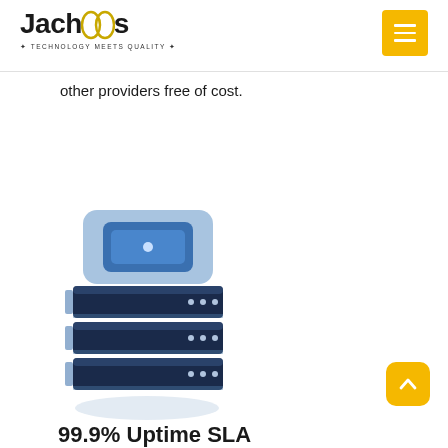Jachos - Technology Meets Quality
other providers free of cost.
[Figure (illustration): Isometric server stack illustration with dark navy and light blue colors, showing multiple server units stacked with a top panel featuring a blue square]
99.9% Uptime SLA